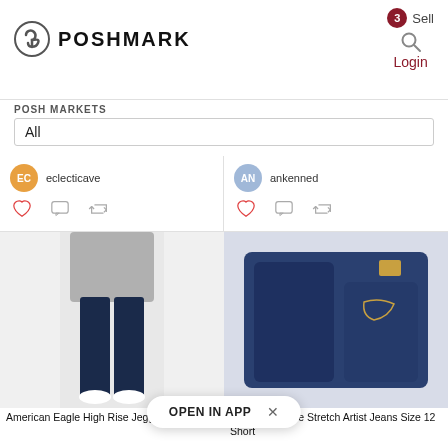Poshmark
Sell
Login
POSH MARKETS
All
eclecticave
ankenned
[Figure (photo): American Eagle High Rise Jegging Jeans - woman wearing dark skinny jeans with grey sweatshirt]
[Figure (photo): American Eagle Stretch Artist Jeans Size 12 Short - folded dark blue jeans on white background]
American Eagle High Rise Jegging Jeans
American Eagle Stretch Artist Jeans Size 12 Short
OPEN IN APP